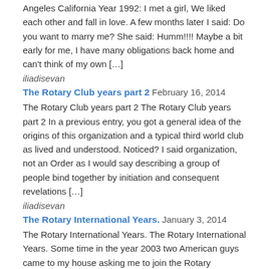Angeles California Year 1992: I met a girl, We liked each other and fall in love. A few months later I said: Do you want to marry me? She said: Humm!!!! Maybe a bit early for me, I have many obligations back home and can't think of my own […]
iliadisevan
The Rotary Club years part 2  February 16, 2014
The Rotary Club years part 2 The Rotary Club years part 2 In a previous entry, you got a general idea of the origins of this organization and a typical third world club as lived and understood. Noticed? I said organization, not an Order as I would say describing a group of people bind together by initiation and consequent revelations […]
iliadisevan
The Rotary International Years.  January 3, 2014
The Rotary International Years. The Rotary International Years. Some time in the year 2003 two American guys came to my house asking me to join the Rotary International club in Tagbilaran. It wasn't the first time I was approached by this organization, it happened before in France and later in the US by Brothers Free […]
iliadisevan
Culture shock.  September 7, 2013